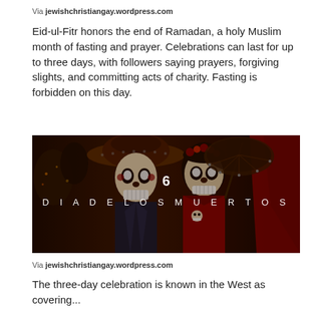Via jewishchristiangay.wordpress.com
Eid-ul-Fitr honors the end of Ramadan, a holy Muslim month of fasting and prayer. Celebrations can last for up to three days, with followers saying prayers, forgiving slights, and committing acts of charity. Fasting is forbidden on this day.
[Figure (photo): Dia de los Muertos themed photo showing two people in skull face paint and festive costumes, with text '6 DIA DE LOS MUERTOS' overlaid in white letters]
Via jewishchristiangay.wordpress.com
The three-day celebration is known in the West as covering...